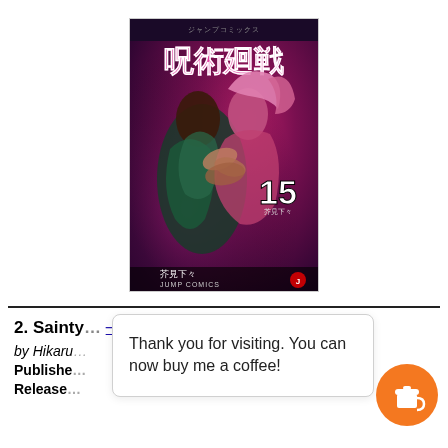[Figure (illustration): Manga volume cover: Jujutsu Kaisen volume 15, showing two characters fighting, with Japanese title text and 'JUMP COMICS' at the bottom. Volume number 15 visible on the cover.]
2. Sainty... (partially obscured)
by Hikaru...
Published
Release
Thank you for visiting. You can now buy me a coffee!